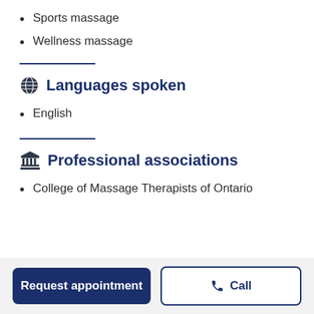Sports massage
Wellness massage
Languages spoken
English
Professional associations
College of Massage Therapists of Ontario
Request appointment
Call